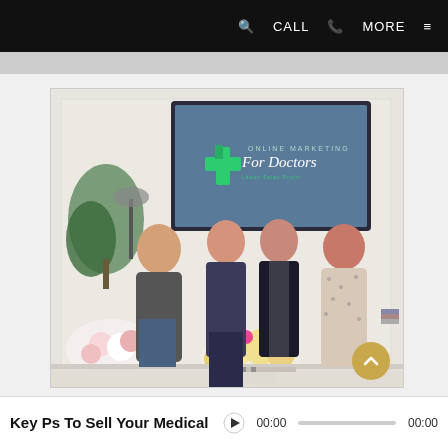🔍  CALL 📞  MORE ≡
[Figure (photo): Four people standing in front of a screen displaying 'Online Marketing For Doctors – Leads.Sales.Profit' logo. Floral arrangements visible in foreground.]
Key Ps To Sell Your Medical  ▶  00:00  ——————  00:00